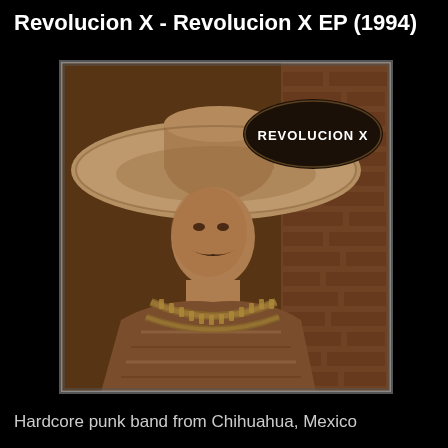Revolucion X - Revolucion X EP (1994)
[Figure (photo): Album cover for Revolucion X EP (1994). Sepia-toned photograph of a man wearing a large sombrero and a crossed bandolier of ammunition, standing against a brick wall. An oval black label with white bold text reading 'REVOLUCION X' is overlaid in the upper right area of the image.]
Hardcore punk band from Chihuahua, Mexico